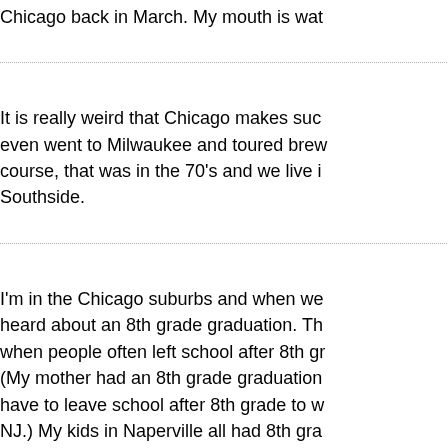Chicago back in March. My mouth is wat
Posted by: D
It is really weird that Chicago makes suc even went to Milwaukee and toured brew course, that was in the 70's and we live i Southside.
Posted
I'm in the Chicago suburbs and when we heard about an 8th grade graduation. Th when people often left school after 8th gr (My mother had an 8th grade graduation have to leave school after 8th grade to w NJ.) My kids in Naperville all had 8th gra school administration really seemed to w up in Chicago liked the tradition.
Posted by: Jud